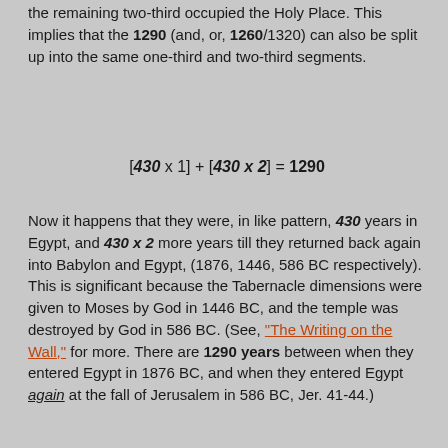the remaining two-third occupied the Holy Place. This implies that the 1290 (and, or, 1260/1320) can also be split up into the same one-third and two-third segments.
Now it happens that they were, in like pattern, 430 years in Egypt, and 430 x 2 more years till they returned back again into Babylon and Egypt, (1876, 1446, 586 BC respectively). This is significant because the Tabernacle dimensions were given to Moses by God in 1446 BC, and the temple was destroyed by God in 586 BC. (See, "The Writing on the Wall," for more. There are 1290 years between when they entered Egypt in 1876 BC, and when they entered Egypt again at the fall of Jerusalem in 586 BC, Jer. 41-44.)